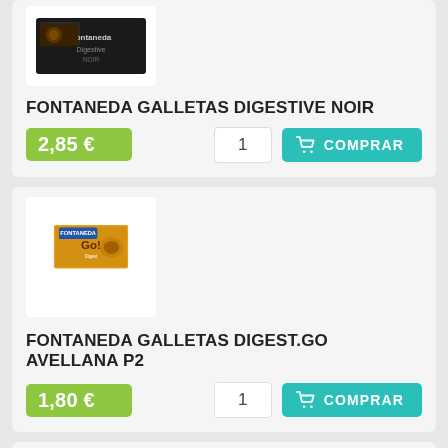[Figure (photo): Product image: Fontaneda Galletas Digestive Noir dark chocolate biscuits box]
FONTANEDA GALLETAS DIGESTIVE NOIR
2,85 €
1
COMPRAR
[Figure (photo): Product image: Fontaneda Galletas Digest.Go Avellana P2 hazelnut biscuits box]
FONTANEDA GALLETAS DIGEST.GO AVELLANA P2
1,80 €
1
COMPRAR
[Figure (photo): Product image: Fontaneda Digestive biscuits box, orange/yellow packaging]